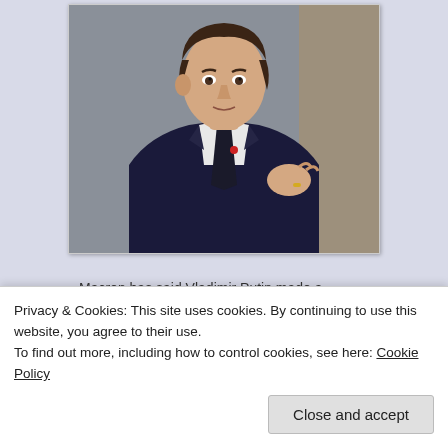[Figure (photo): Close-up photograph of Emmanuel Macron in a dark suit and tie, gesturing with his hand, against a blurred background.]
Macron has said Vladimir Putin made a 'historic and fundamental' error in invading Ukraine. Photograph: Julien de Rosa/EPA
Dan Sabbagh in Kyiv The Guardian
Privacy & Cookies: This site uses cookies. By continuing to use this website, you agree to their use.
To find out more, including how to control cookies, see here: Cookie Policy